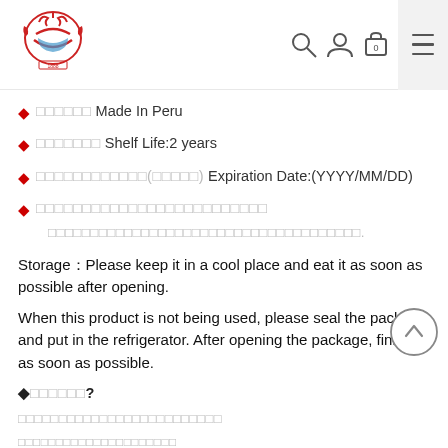Navigation bar with logo, search, user, cart, and menu icons
□□□□□□ Made In Peru
□□□□□□□ Shelf Life:2 years
□□□□□□□□□□□□(□□□□□) Expiration Date:(YYYY/MM/DD)
□□□□□□□□□□□□□□□□□□□□□□□□□
□□□□□□□□□□□□□□□□□□□□□□□□□□□□□□□□□□□□□.
Storage：Please keep it in a cool place and eat it as soon as possible after opening.
When this product is not being used, please seal the package and put in the refrigerator. After opening the package, finish as soon as possible.
◆□□□□□□?
□□□□□□□□□□□□□□□□□□□□□□□□□
□□□□□□□□□□□□□□□□□□□□□